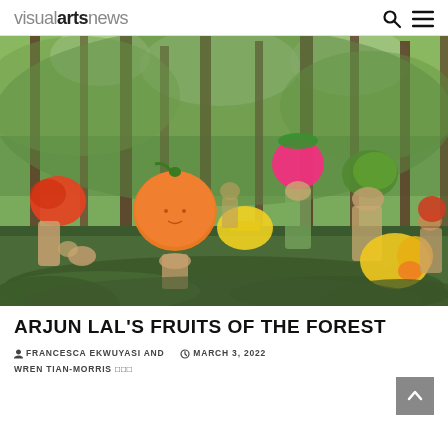visualartsnews
[Figure (photo): A forest scene with multiple figures in swimwear wearing large inflatable fruit heads (orange, pink watermelon, yellow, green melon) among tall trees and lush green undergrowth.]
ARJUN LAL'S FRUITS OF THE FOREST
FRANCESCA EKWUYASI AND   MARCH 3, 2022   WREN TIAN-MORRIS